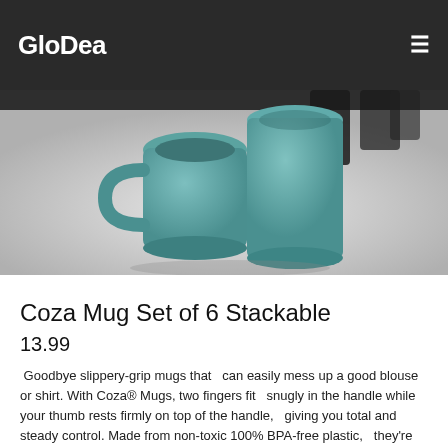GloDea
[Figure (photo): Two teal/blue-green stackable mugs photographed from above on a white background, with dark background visible at top.]
Coza Mug Set of 6 Stackable
13.99
Goodbye slippery-grip mugs that  can easily mess up a good blouse or shirt. With Coza® Mugs, two fingers fit  snugly in the handle while your thumb rests firmly on top of the handle,  giving you total and steady control. Made from non-toxic 100% BPA-free plastic,  they're microwave and dishwasher safe.